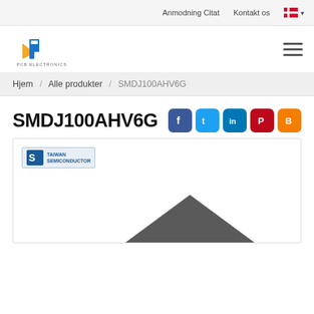Anmodning Citat  Kontakt os  [DK flag]
[Figure (logo): PCB Electronics logo with stylized blue and orange P letter mark and text 'PCB ELECTRONICS' below]
Hjem / Alle produkter / SMDJ100AHV6G
SMDJ100AHV6G
[Figure (logo): Taiwan Semiconductor logo — blue S icon with 'TAIWAN SEMICONDUCTOR' text]
[Figure (illustration): Product image showing a dark grey SMD diode component (triangular shape visible at bottom of frame)]